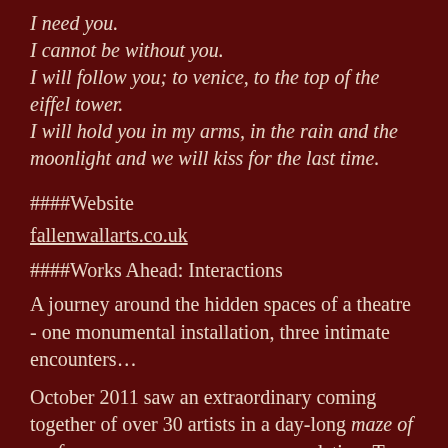I need you.
I cannot be without you.
I will follow you; to venice, to the top of the eiffel tower.
I will hold you in my arms, in the rain and the moonlight and we will kiss for the last time.
####Website
fallenwallarts.co.uk
####Works Ahead: Interactions
A journey around the hidden spaces of a theatre - one monumental installation, three intimate encounters…
October 2011 saw an extraordinary coming together of over 30 artists in a day-long maze of performance: emergency accommodation. Two whole buildings